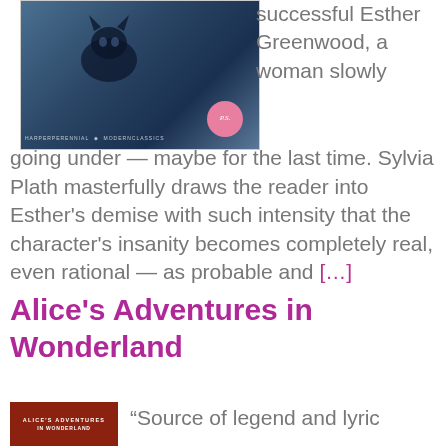[Figure (photo): Book cover of The Bell Jar, dark blue toned image with a pink badge/sticker, HarperPerennial Modern Classics label at bottom]
successful Esther Greenwood, a woman slowly going under — maybe for the last time. Sylvia Plath masterfully draws the reader into Esther's demise with such intensity that the character's insanity becomes completely real, even rational — as probable and […]
Alice's Adventures in Wonderland
[Figure (photo): Book cover of Alice's Adventures in Wonderland, dark red/brown background with white text]
“Source of legend and lyric